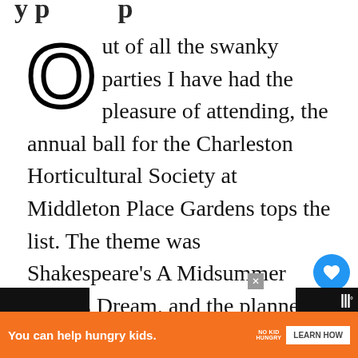Out of all the swanky parties I have had the pleasure of attending, the annual ball for the Charleston Horticultural Society at Middleton Place Gardens tops the list. The theme was Shakespeare's A Midsummer Night's Dream, and the planners of this particular party spared no expense. From this grand affair emerged a unique dish I learned from
[Figure (screenshot): Ad banner: orange background, 'You can help hungry kids.' text with No Kid Hungry logo and Learn How button]